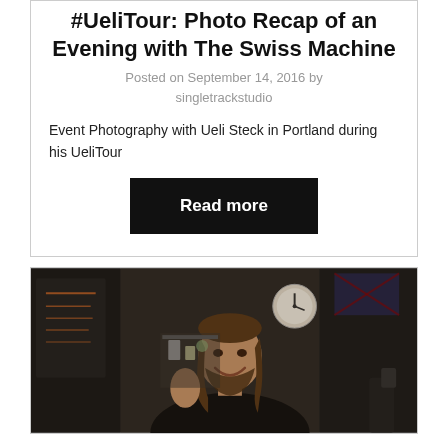#UeliTour: Photo Recap of an Evening with The Swiss Machine
Posted on September 14, 2016 by singletrackstudio
Event Photography with Ueli Steck in Portland during his UeliTour
Read more
[Figure (photo): A man with long hair and a beard smiling, photographed in a dark café/bar setting with a clock visible on the wall and various items in the background.]